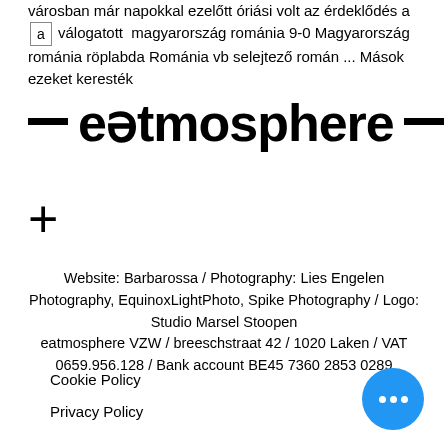városban már napokkal ezelőtt óriási volt az érdeklődés a válogatott  magyarország románia 9-0 Magyarország románia röplabda Románia vb selejtező román ... Mások ezeket keresték
[Figure (logo): eatmosphere logo with dashes on either side]
+
Website: Barbarossa / Photography: Lies Engelen Photography, EquinoxLightPhoto, Spike Photography / Logo: Studio Marsel Stoopen
eatmosphere VZW / breeschstraat 42 / 1020 Laken / VAT 0659.956.128 / Bank account BE45 7360 2853 0289
Cookie Policy
Privacy Policy